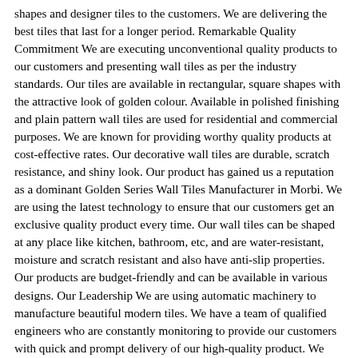shapes and designer tiles to the customers. We are delivering the best tiles that last for a longer period. Remarkable Quality Commitment We are executing unconventional quality products to our customers and presenting wall tiles as per the industry standards. Our tiles are available in rectangular, square shapes with the attractive look of golden colour. Available in polished finishing and plain pattern wall tiles are used for residential and commercial purposes. We are known for providing worthy quality products at cost-effective rates. Our decorative wall tiles are durable, scratch resistance, and shiny look. Our product has gained us a reputation as a dominant Golden Series Wall Tiles Manufacturer in Morbi. We are using the latest technology to ensure that our customers get an exclusive quality product every time. Our wall tiles can be shaped at any place like kitchen, bathroom, etc, and are water-resistant, moisture and scratch resistant and also have anti-slip properties. Our products are budget-friendly and can be available in various designs. Our Leadership We are using automatic machinery to manufacture beautiful modern tiles. We have a team of qualified engineers who are constantly monitoring to provide our customers with quick and prompt delivery of our high-quality product. We also ensure that our wall tiles are critically checked before dispatch of tiles to the customers. We realize that business can be done with top-quality products, timely delivery, and the best price. We have a robust network worldwide. We make continuous effort to offer beautiful golden wall tiles with fine finish, and elegance. We have our dominant presence for Golden Series Wall Tiles Supplier in